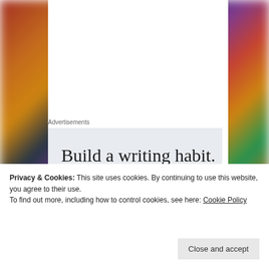Advertisements
[Figure (illustration): Advertisement box with light blue-grey background showing text 'Build a writing habit. Post on the go.' with a 'GET THE APP' link and WordPress logo icon]
Privacy & Cookies: This site uses cookies. By continuing to use this website, you agree to their use.
To find out more, including how to control cookies, see here: Cookie Policy
Close and accept